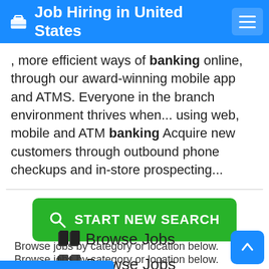Job Hiring in United States
, more efficient ways of banking online, through our award-winning mobile app and ATMS. Everyone in the branch environment thrives when... using web, mobile and ATM banking Acquire new customers through outbound phone checkups and in-store prospecting...
[Figure (other): Green button labeled START NEW SEARCH with a magnifying glass icon]
Browse Jobs
Browse jobs by category or location below.